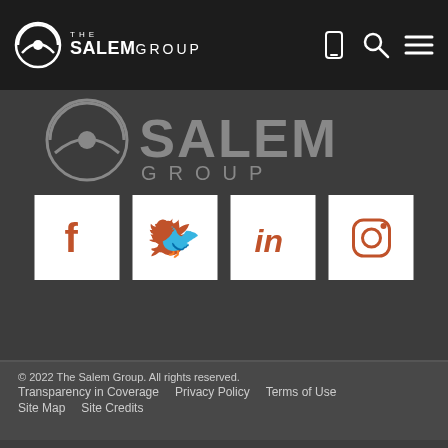THE SALEMGROUP
[Figure (logo): Salem Group logo large watermark in dark gray section]
[Figure (infographic): Four social media icon boxes: Facebook, Twitter, LinkedIn, Instagram - white boxes with orange icons]
© 2022 The Salem Group. All rights reserved.
Transparency in Coverage
Privacy Policy
Terms of Use
Site Map
Site Credits
Shortcuts
View
What links here